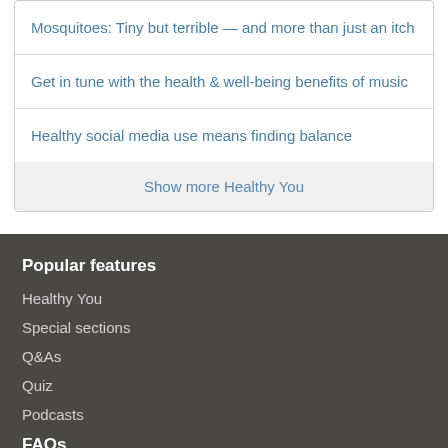Mosquitoes: Tiny but terrible — and more than just an itch
Get in tune with the health & well-being benefits of music
Healthy social media use means finding balance
Show more Healthy You
Popular features
Healthy You
Special sections
Q&As
Quiz
Podcasts
FAQs